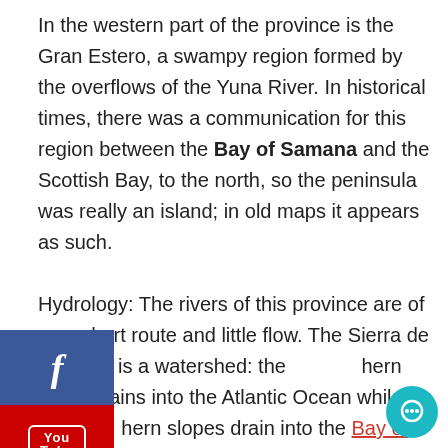In the western part of the province is the Gran Estero, a swampy region formed by the overflows of the Yuna River. In historical times, there was a communication for this region between the Bay of Samana and the Scottish Bay, to the north, so the peninsula was really an island; in old maps it appears as such.

Hydrology: The rivers of this province are of very short route and little flow. The Sierra de Samaná is a watershed: the northern slope drains into the Atlantic Ocean while the southern slopes drain into the Bay of Samaná; there are the water currents on the southern slope but the most important are on the northern slope. The Limón River is the longest in the province, with 14.5 km, ending at the north coast. Other rivers on the north slope are San Juan (12 km), Tito (8 km) and its tributary Cantón (7.5 km), and La Majagua (6 km); in the southern slope the only one of certain importance is the Malacate (6 km).
[Figure (infographic): Facebook social share button (blue with 'f' icon)]
[Figure (infographic): YouTube social share button (red with YouTube logo)]
[Figure (infographic): Email/mail share button (grey with envelope icon)]
[Figure (infographic): Chat/support bubble button (teal circle with chat icon) at bottom right]